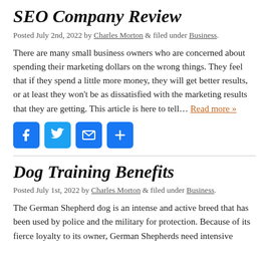SEO Company Review
Posted July 2nd, 2022 by Charles Morton & filed under Business.
There are many small business owners who are concerned about spending their marketing dollars on the wrong things. They feel that if they spend a little more money, they will get better results, or at least they won’t be as dissatisfied with the marketing results that they are getting. This article is here to tell… Read more »
[Figure (other): Social sharing buttons: Facebook, Twitter, Email, Share]
Dog Training Benefits
Posted July 1st, 2022 by Charles Morton & filed under Business.
The German Shepherd dog is an intense and active breed that has been used by police and the military for protection. Because of its fierce loyalty to its owner, German Shepherds need intensive